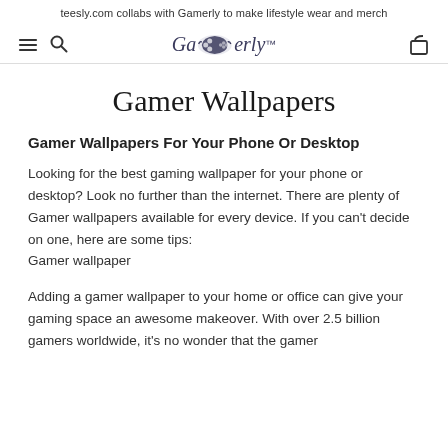teesly.com collabs with Gamerly to make lifestyle wear and merch
[Figure (logo): Gamerly logo with game controller icon between 'Ga' and 'erly' text, in italic serif font with dark blue/purple color]
Gamer Wallpapers
Gamer Wallpapers For Your Phone Or Desktop
Looking for the best gaming wallpaper for your phone or desktop? Look no further than the internet. There are plenty of Gamer wallpapers available for every device. If you can't decide on one, here are some tips:
Gamer wallpaper
Adding a gamer wallpaper to your home or office can give your gaming space an awesome makeover. With over 2.5 billion gamers worldwide, it's no wonder that the gamer